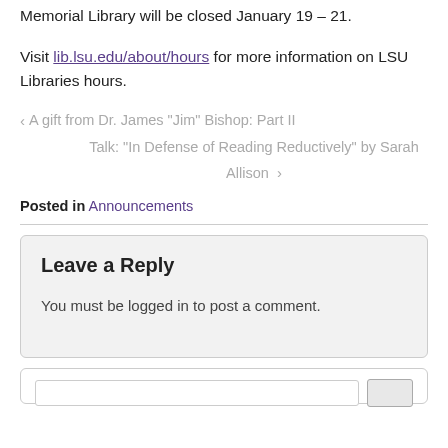Memorial Library will be closed January 19 – 21.
Visit lib.lsu.edu/about/hours for more information on LSU Libraries hours.
‹ A gift from Dr. James “Jim” Bishop: Part II
Talk: “In Defense of Reading Reductively” by Sarah Allison ›
Posted in Announcements
Leave a Reply
You must be logged in to post a comment.